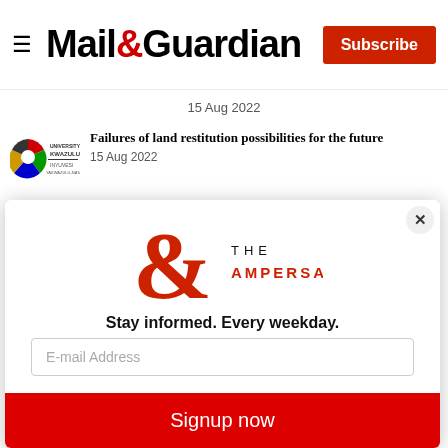Mail&Guardian — Subscribe
15 Aug 2022
Failures of land restitution possibilities for the future
15 Aug 2022
[Figure (logo): University of KwaZulu-Natal logo with INYUVESI text]
[Figure (logo): The Ampersand modal logo — large red ampersand symbol with 'THE AMPERSAND' text]
Stay informed. Every weekday.
E-mail Address
Signup now